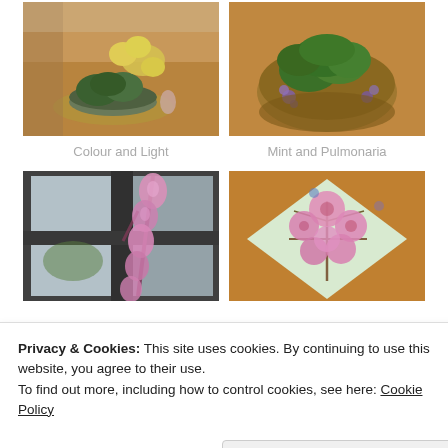[Figure (photo): Photo of bowl with green plants/herbs and lemons on a wooden table, top-left]
[Figure (photo): Photo of green leafy plants/mint and small purple flowers in a basket on wooden table, top-right]
Colour and Light
Mint and Pulmonaria
[Figure (photo): Photo of pink flowering branch/gladiolus against window with dark frames, bottom-left]
[Figure (photo): Photo of pink cherry blossom flowers on a decorative tile/mat on wooden table, bottom-right]
Privacy & Cookies: This site uses cookies. By continuing to use this website, you agree to their use.
To find out more, including how to control cookies, see here: Cookie Policy
Close and accept